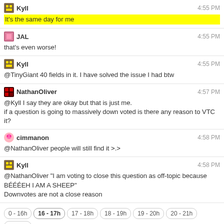Kyll 4:55 PM — It's the same day for me
JAL 4:55 PM — that's even worse!
Kyll 4:55 PM — @TinyGiant 40 fields in it. I have solved the issue I had btw
NathanOliver 4:57 PM — @Kyll I say they are okay but that is just me. if a question is going to massively down voted is there any reason to VTC it?
cimmanon 4:58 PM — @NathanOliver people will still find it >.>
Kyll 4:58 PM — @NathanOliver "I am voting to close this question as off-topic because BÉÉÉEH I AM A SHEEP" Downvotes are not a close reason
0 - 16h  16 - 17h  17 - 18h  18 - 19h  19 - 20h  20 - 21h  21 - 0h
← prev day  next day →  last day »
join this room